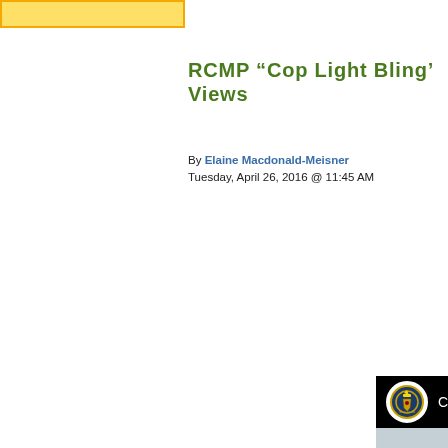[Figure (other): Advertisement banner with yellow/gold background and orange border]
RCMP “Cop Light Bling’ Views
By Elaine Macdonald-Meisner
Tuesday, April 26, 2016 @ 11:45 AM
[Figure (screenshot): Facebook page preview for 'Cop Light Bling' showing Nova Scotia RCMP badge logo on black background header, followed by a photo of an RCMP officer's cap with gold badge and sunglasses against a grey sky background.]